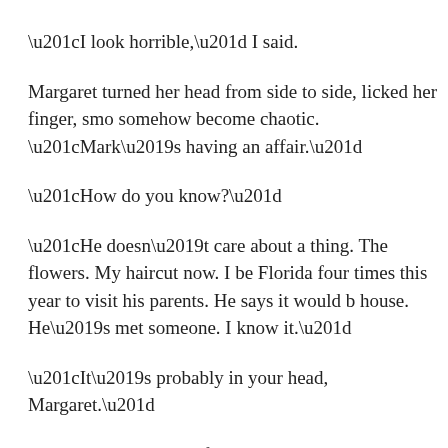“I look horrible,” I said.
Margaret turned her head from side to side, licked her finger, smo- somehow become chaotic. “Mark’s having an affair.”
“How do you know?”
“He doesn’t care about a thing. The flowers. My haircut now. I be- Florida four times this year to visit his parents. He says it would b- house. He’s met someone. I know it.”
“It’s probably in your head, Margaret.”
“Yes.” She found my eyes in the mirror. “And everything that’s ev- true.”
The women who had cut our hair were in the back room pretendin- machine. They stood side by side, staring at the machine, whisper- strands of hair they hadn’t swept up yet, healthy and shiny like the